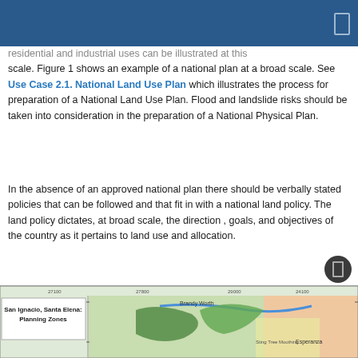residential and industrial uses can be illustrated at this scale. Figure 1 shows an example of a national plan at a broad scale. See Use Case 2.1. National Land Use Plan which illustrates the process for preparation of a National Land Use Plan. Flood and landslide risks should be taken into consideration in the preparation of a National Physical Plan.
In the absence of an approved national plan there should be verbally stated policies that can be followed and that fit in with a national land policy. The land policy dictates, at broad scale, the direction , goals, and objectives of the country as it pertains to land use and allocation.
[Figure (map): Map showing San Ignacio, Santa Elena: Planning Zones with coordinate markers and colored land use zones including Brandy with labeled areas and Esperanza]